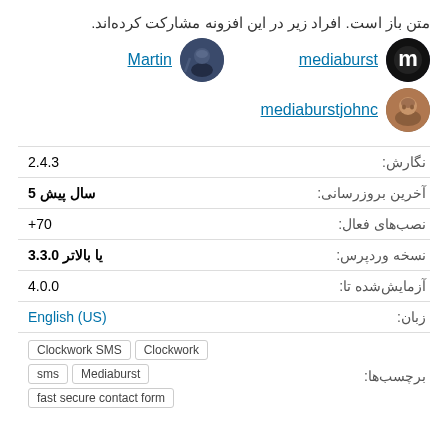متن باز است. افراد زیر در این افزونه مشارکت کرده‌اند.
[Figure (illustration): Three contributor entries: Martin with avatar, mediaburst with avatar, mediaburstjohnc with avatar]
| label | value |
| --- | --- |
| نگارش: | 2.4.3 |
| آخرین بروزرسانی: | 5 سال پیش |
| نصب‌های فعال: | +70 |
| نسخه وردپرس: | 3.3.0 یا بالاتر |
| آزمایش‌شده تا: | 4.0.0 |
| زبان: | English (US) |
| برچسب‌ها: | Clockwork SMS  Clockwork  sms  Mediaburst  fast secure contact form |